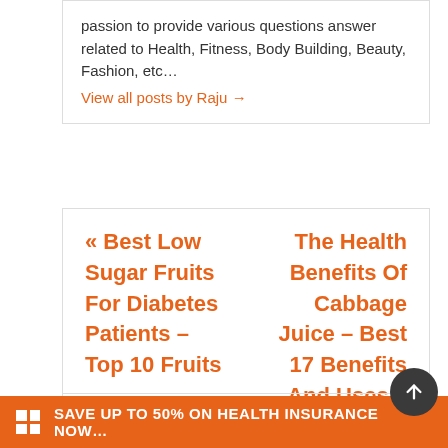passion to provide various questions answer related to Health, Fitness, Body Building, Beauty, Fashion, etc…
View all posts by Raju →
« Best Low Sugar Fruits For Diabetes Patients – Top 10 Fruits
The Health Benefits Of Cabbage Juice – Best 17 Benefits And Uses »
Search...